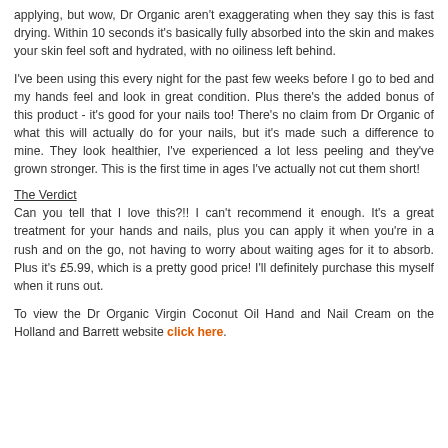applying, but wow, Dr Organic aren't exaggerating when they say this is fast drying. Within 10 seconds it's basically fully absorbed into the skin and makes your skin feel soft and hydrated, with no oiliness left behind.
I've been using this every night for the past few weeks before I go to bed and my hands feel and look in great condition. Plus there's the added bonus of this product - it's good for your nails too! There's no claim from Dr Organic of what this will actually do for your nails, but it's made such a difference to mine. They look healthier, I've experienced a lot less peeling and they've grown stronger. This is the first time in ages I've actually not cut them short!
The Verdict
Can you tell that I love this?!! I can't recommend it enough. It's a great treatment for your hands and nails, plus you can apply it when you're in a rush and on the go, not having to worry about waiting ages for it to absorb. Plus it's £5.99, which is a pretty good price! I'll definitely purchase this myself when it runs out.
To view the Dr Organic Virgin Coconut Oil Hand and Nail Cream on the Holland and Barrett website click here.